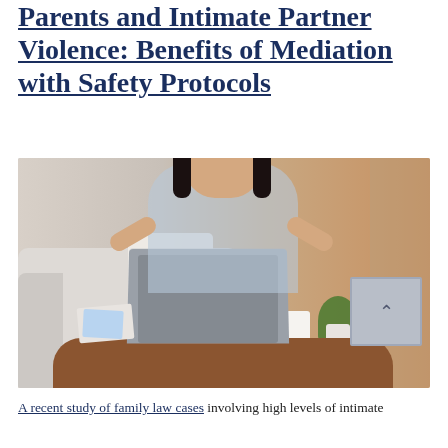Parents and Intimate Partner Violence: Benefits of Mediation with Safety Protocols
[Figure (photo): A woman with dark hair wearing a light blue top sits in front of a laptop on a wooden coffee table, raising both hands in a frustrated or questioning gesture. She is seated near a grey sofa in a warm-toned living room. A small potted plant and a white mug are visible on the table. A small grey badge with an up-arrow icon appears in the bottom-right corner of the photo.]
A recent study of family law cases involving high levels of intimate